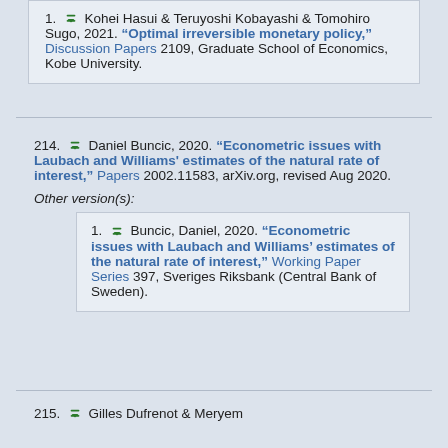1. Kohei Hasui & Teruyoshi Kobayashi & Tomohiro Sugo, 2021. "Optimal irreversible monetary policy," Discussion Papers 2109, Graduate School of Economics, Kobe University.
214. Daniel Buncic, 2020. "Econometric issues with Laubach and Williams' estimates of the natural rate of interest," Papers 2002.11583, arXiv.org, revised Aug 2020.
Other version(s):
1. Buncic, Daniel, 2020. "Econometric issues with Laubach and Williams' estimates of the natural rate of interest," Working Paper Series 397, Sveriges Riksbank (Central Bank of Sweden).
215. Gilles Dufrenot & Meryem